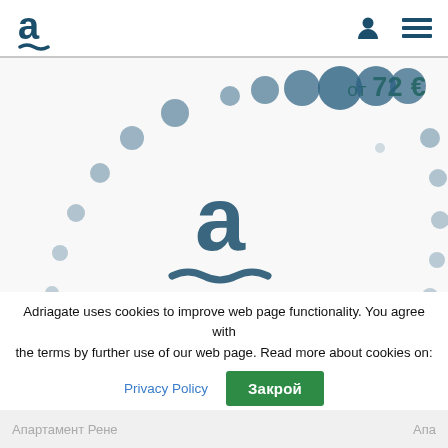Adriagate logo, user icon, menu icon
[Figure (logo): Adriagate loading screen with blurred dots arranged in a circle pattern and central Adriagate logo (letter 'a' with tilde). Price tag shows 'от 72 €' in top right.]
Adriagate uses cookies to improve web page functionality. You agree with the terms by further use of our web page. Read more about cookies on:
Privacy Policy
Закрой
Апартамент Рене   Апа